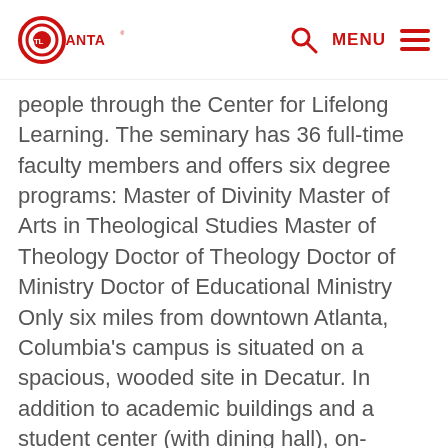Atlanta logo, search icon, MENU
people through the Center for Lifelong Learning. The seminary has 36 full-time faculty members and offers six degree programs: Master of Divinity Master of Arts in Theological Studies Master of Theology Doctor of Theology Doctor of Ministry Doctor of Educational Ministry Only six miles from downtown Atlanta, Columbia's campus is situated on a spacious, wooded site in Decatur. In addition to academic buildings and a student center (with dining hall), on-campus housing is available for single students and those with families. A short drive from campus are Agnes Scott College and Emory University, Stone Mountain Park, the Fernbank Museum